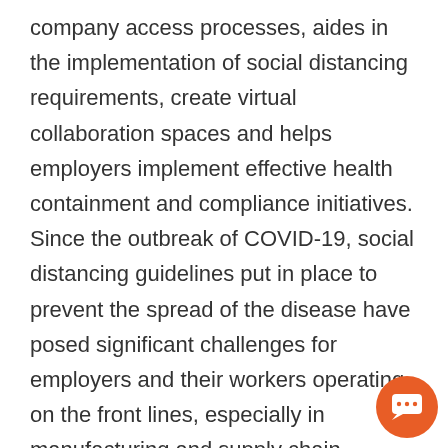company access processes, aides in the implementation of social distancing requirements, create virtual collaboration spaces and helps employers implement effective health containment and compliance initiatives. Since the outbreak of COVID-19, social distancing guidelines put in place to prevent the spread of the disease have posed significant challenges for employers and their workers operating on the front lines, especially in manufacturing and supply chain industries such as automotive, food processing, and others that